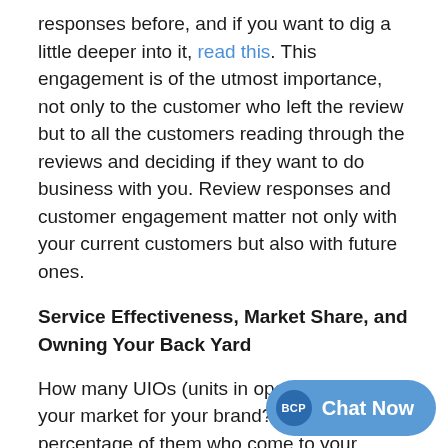responses before, and if you want to dig a little deeper into it, read this. This engagement is of the utmost importance, not only to the customer who left the review but to all the customers reading through the reviews and deciding if they want to do business with you. Review responses and customer engagement matter not only with your current customers but also with future ones.
Service Effectiveness, Market Share, and Owning Your Back Yard
How many UIOs (units in operation) are in your market for your brand? What is the percentage of them who come to your dealership for... are questions I have heard over and over when sitting